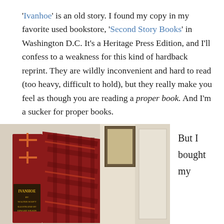'Ivanhoe' is an old story. I found my copy in my favorite used bookstore, 'Second Story Books' in Washington D.C. It's a Heritage Press Edition, and I'll confess to a weakness for this kind of hardback reprint. They are wildly inconvenient and hard to read (too heavy, difficult to hold), but they really make you feel as though you are reading a proper book. And I'm a sucker for proper books.
[Figure (photo): A photo of the Ivanhoe Heritage Press Edition book by Walter Scott, illustrated by Edward Wilson, showing the spine and cover with ornate cross pattern in red and dark colors.]
But I bought my